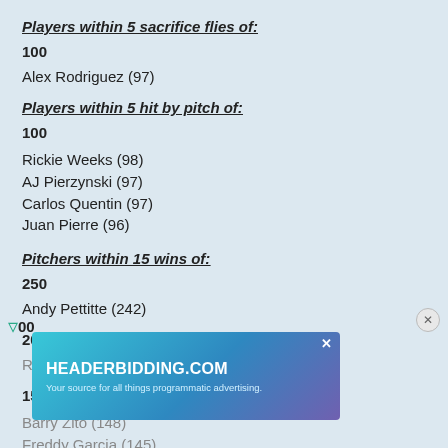Players within 5 sacrifice flies of:
100
Alex Rodriguez (97)
Players within 5 hit by pitch of:
100
Rickie Weeks (98)
AJ Pierzynski (97)
Carlos Quentin (97)
Juan Pierre (96)
Pitchers within 15 wins of:
250
Andy Pettitte (242)
200
Roy Halladay (192)
150
Barry Zito (148)
Freddy Garcia (145)